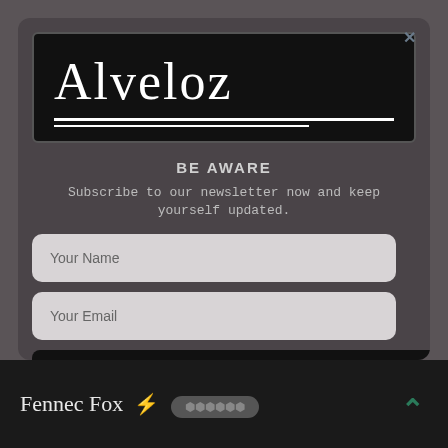[Figure (logo): Alveloz brand logo in white serif font on black background with white underline borders]
BE AWARE
Subscribe to our newsletter now and keep yourself updated.
Your Name
Your Email
Subscribe
Fennec Fox ⚡